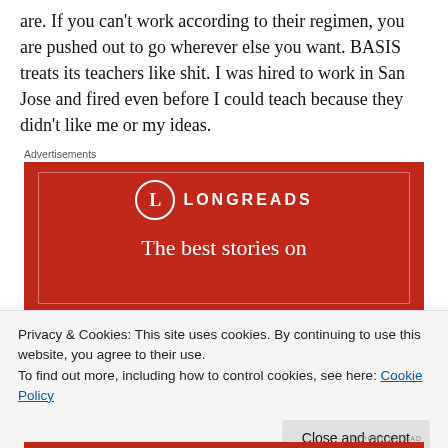are. If you can't work according to their regimen, you are pushed out to go wherever else you want. BASIS treats its teachers like shit. I was hired to work in San Jose and fired even before I could teach because they didn't like me or my ideas.
Advertisements
[Figure (other): Longreads advertisement banner — red background with white circle logo containing 'L', text 'LONGREADS' in white caps, decorative border, tagline 'The best stories on']
Privacy & Cookies: This site uses cookies. By continuing to use this website, you agree to their use.
To find out more, including how to control cookies, see here: Cookie Policy
Close and accept